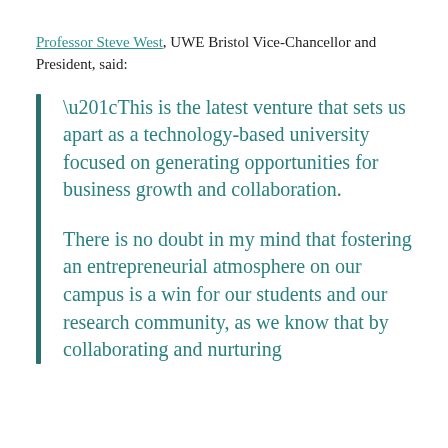Professor Steve West, UWE Bristol Vice-Chancellor and President, said:
“This is the latest venture that sets us apart as a technology-based university focused on generating opportunities for business growth and collaboration.

There is no doubt in my mind that fostering an entrepreneurial atmosphere on our campus is a win for our students and our research community, as we know that by collaborating and nurturing